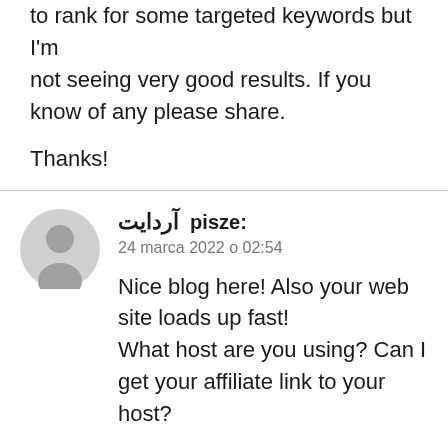to rank for some targeted keywords but I'm not seeing very good results. If you know of any please share.
Thanks!
آردایت pisze: 24 marca 2022 o 02:54
Nice blog here! Also your web site loads up fast! What host are you using? Can I get your affiliate link to your host?